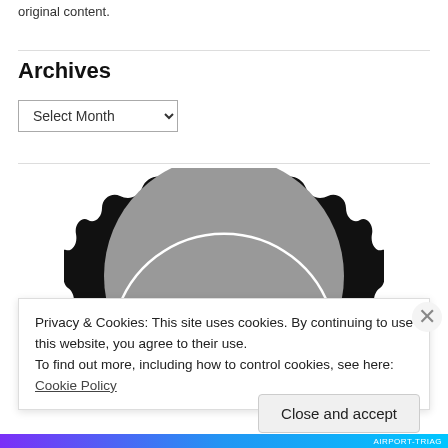original content.
Archives
Select Month
[Figure (illustration): Partially visible circular badge/seal with black scalloped border, gray interior, white arc line, and text 'EST. 2017' with a small red triangle/arrow graphic in center]
Privacy & Cookies: This site uses cookies. By continuing to use this website, you agree to their use.
To find out more, including how to control cookies, see here: Cookie Policy
Close and accept
AIRPORT-TRIAG